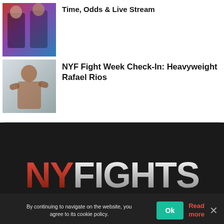[Figure (photo): Two fighters standing together at a weigh-in event with colorful background lighting]
Time, Odds & Live Stream
[Figure (photo): Heavyweight boxer Rafael Rios in fighting stance against a plain background]
NYF Fight Week Check-In: Heavyweight Rafael Rios
[Figure (logo): NY FIGHTS logo in red and silver metallic text on dark background]
By continuing to navigate on the website, you agree to its cookie policy.